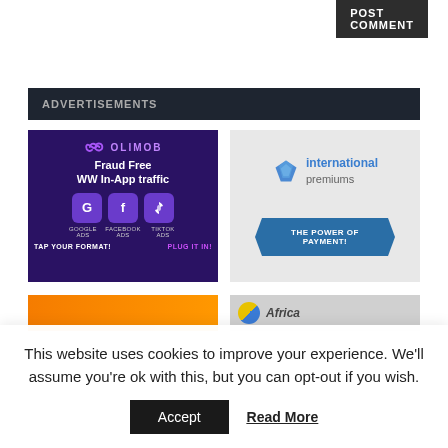[Figure (other): POST COMMENT button in dark background]
ADVERTISEMENTS
[Figure (logo): Olimob ad – Fraud Free WW In-App traffic with Google Ads, Facebook Ads, TikTok Ads logos. TAP YOUR FORMAT! PLUG IT IN!]
[Figure (logo): International Premiums ad – THE POWER OF PAYMENT!]
[Figure (other): Partial orange ad banner at bottom left]
[Figure (other): Partial Africa-branded ad banner at bottom right]
This website uses cookies to improve your experience. We'll assume you're ok with this, but you can opt-out if you wish.
Accept
Read More